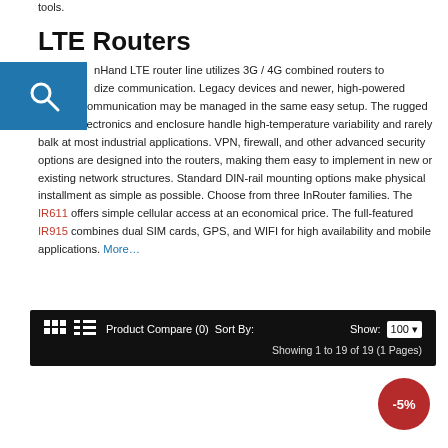tools.
LTE Routers
InHand LTE router line utilizes 3G / 4G combined routers to standardize communication. Legacy devices and newer, high-powered wireless communication may be managed in the same easy setup. The rugged internal electronics and enclosure handle high-temperature variability and rarely balk at most industrial applications. VPN, firewall, and other advanced security options are designed into the routers, making them easy to implement in new or existing network structures. Standard DIN-rail mounting options make physical installment as simple as possible. Choose from three InRouter families. The IR611 offers simple cellular access at an economical price. The full-featured IR915 combines dual SIM cards, GPS, and WIFI for high availability and mobile applications. More…
Product Compare (0)  Sort By:   Show: 100   Showing 1 to 19 of 19 (1 Pages)